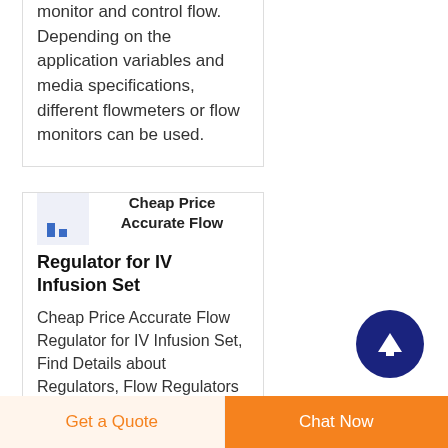monitor and control flow. Depending on the application variables and media specifications, different flowmeters or flow monitors can be used.
Cheap Price Accurate Flow Regulator for IV Infusion Set
Cheap Price Accurate Flow Regulator for IV Infusion Set, Find Details about Regulators, Flow Regulators from Cheap Price Accurate Flow Regulator...
[Figure (logo): Small bar chart logo icon in blue on light purple/grey background]
Get a Quote
Chat Now